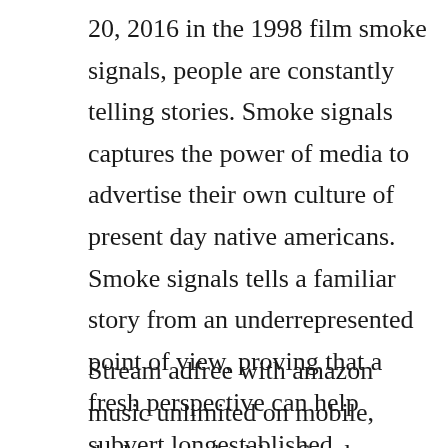20, 2016 in the 1998 film smoke signals, people are constantly telling stories. Smoke signals captures the power of media to advertise their own culture of present day native americans. Smoke signals tells a familiar story from an underrepresented point of view, proving that a fresh perspective can help subvert longestablished expectations. Whenever an authority says something is unhealthy we now.
Stream adfree with amazon music unlimited on mobile, desktop, and tablet. Smoke signals